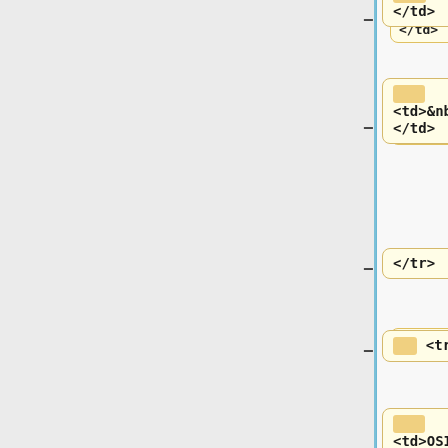</td>
<td>&nbsp;
</td>
</tr>
<tr>
<td>OSISqToTick</td>
<td>true/false<br/>
When set to false indicates that OSIS quote elements without a marker attribute